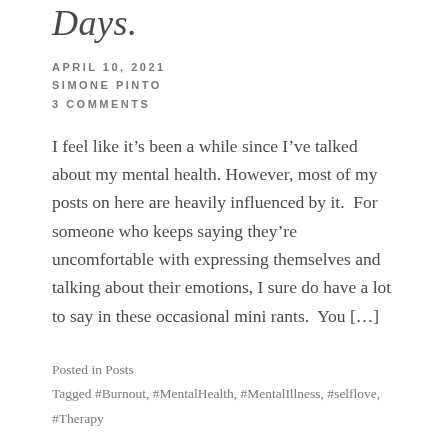Days.
APRIL 10, 2021
SIMONE PINTO
3 COMMENTS
I feel like it’s been a while since I’ve talked about my mental health. However, most of my posts on here are heavily influenced by it.  For someone who keeps saying they’re uncomfortable with expressing themselves and talking about their emotions, I sure do have a lot to say in these occasional mini rants.  You […]
Posted in Posts
Tagged #Burnout, #MentalHealth, #MentalIllness, #selflove, #Therapy